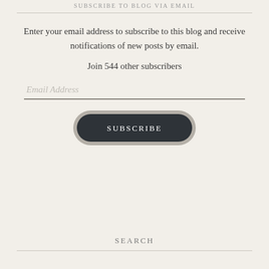SUBSCRIBE TO BLOG VIA EMAIL
Enter your email address to subscribe to this blog and receive notifications of new posts by email.
Join 544 other subscribers
[Figure (other): Email address input field with placeholder text 'Email Address' and underline, followed by a dark rounded SUBSCRIBE button]
SEARCH